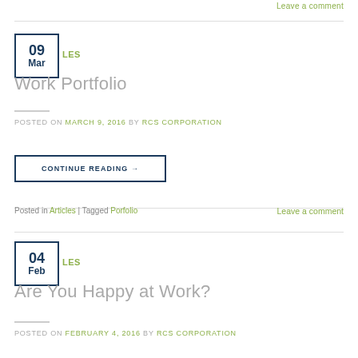Leave a comment
09 Mar ARTICLES
Work Portfolio
POSTED ON MARCH 9, 2016 BY RCS CORPORATION
CONTINUE READING →
Posted in Articles | Tagged Porfolio    Leave a comment
04 Feb ARTICLES
Are You Happy at Work?
POSTED ON FEBRUARY 4, 2016 BY RCS CORPORATION